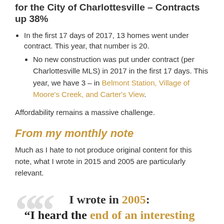for the City of Charlottesville – Contracts up 38%
In the first 17 days of 2017, 13 homes went under contract. This year, that number is 20.
No new construction was put under contract (per Charlottesville MLS) in 2017 in the first 17 days. This year, we have 3 – in Belmont Station, Village of Moore's Creek, and Carter's View.
Affordability remains a massive challenge.
From my monthly note
Much as I hate to not produce original content for this note, what I wrote in 2015 and 2005 are particularly relevant.
I wrote in 2005:
“I heard the end of an interesting